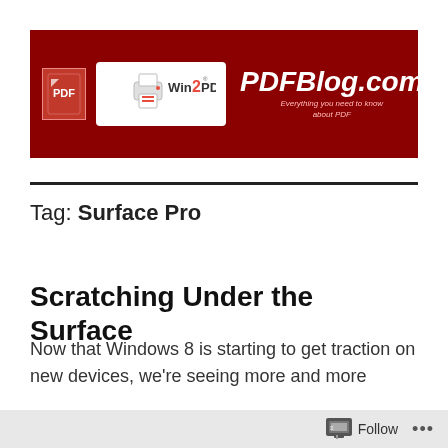[Figure (logo): PDFBlog.com banner with Win2PDF logo on dark red background. Shows PDF icon, Win2PDF printer logo, and PDFBlog.com text with tagline 'Everything you need to know about PDF'.]
Tag: Surface Pro
Scratching Under the Surface
Now that Windows 8 is starting to get traction on new devices, we're seeing more and more